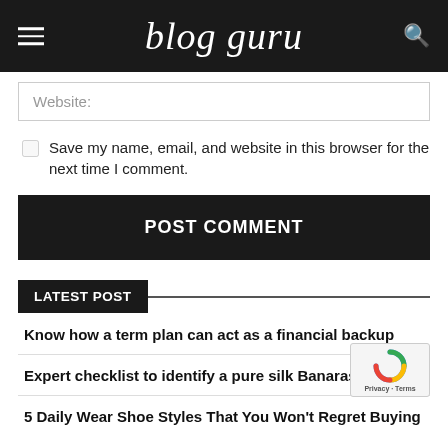blog guru
Website:
Save my name, email, and website in this browser for the next time I comment.
POST COMMENT
LATEST POST
Know how a term plan can act as a financial backup
Expert checklist to identify a pure silk Banarasi Saree
5 Daily Wear Shoe Styles That You Won't Regret Buying